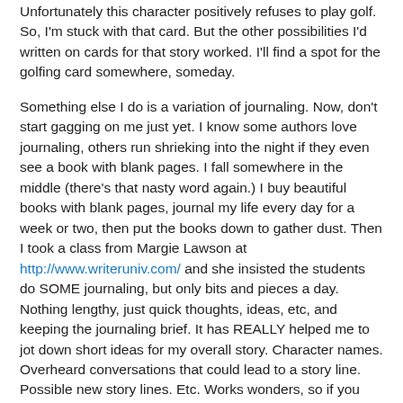Unfortunately this character positively refuses to play golf. So, I'm stuck with that card. But the other possibilities I'd written on cards for that story worked. I'll find a spot for the golfing card somewhere, someday.
Something else I do is a variation of journaling. Now, don't start gagging on me just yet. I know some authors love journaling, others run shrieking into the night if they even see a book with blank pages. I fall somewhere in the middle (there's that nasty word again.) I buy beautiful books with blank pages, journal my life every day for a week or two, then put the books down to gather dust. Then I took a class from Margie Lawson at http://www.writeruniv.com/ and she insisted the students do SOME journaling, but only bits and pieces a day. Nothing lengthy, just quick thoughts, ideas, etc, and keeping the journaling brief. It has REALLY helped me to jot down short ideas for my overall story. Character names. Overheard conversations that could lead to a story line. Possible new story lines. Etc. Works wonders, so if you are having trouble with your writing, buy a nice journal, and jot just a FEW words in it each day.
One other thing that I've found would help I know you're going to...